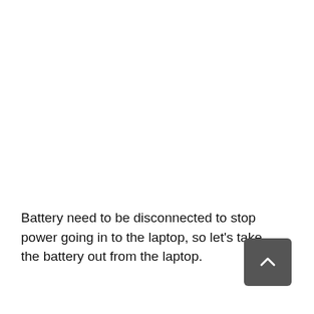Battery need to be disconnected to stop power going in to the laptop, so let's take the battery out from the laptop.